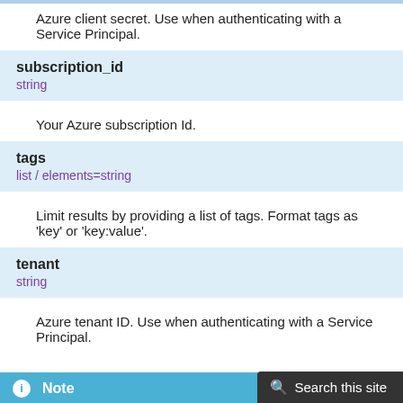Azure client secret. Use when authenticating with a Service Principal.
subscription_id
string
Your Azure subscription Id.
tags
list / elements=string
Limit results by providing a list of tags. Format tags as 'key' or 'key:value'.
tenant
string
Azure tenant ID. Use when authenticating with a Service Principal.
Notes
Note